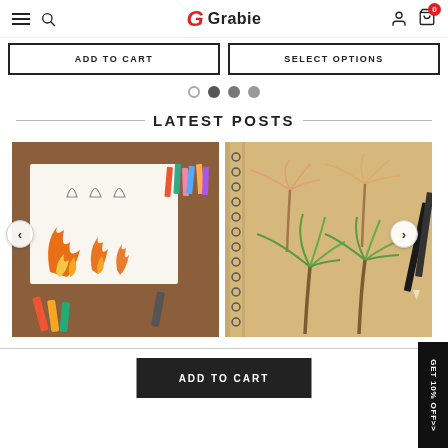Grabie - navigation header with menu, search, logo, user account, and cart (0 items)
ADD TO CART | SELECT OPTIONS
[Figure (other): Carousel pagination dots: one empty circle and three filled circles]
LATEST POSTS
[Figure (photo): Photo of colorful markers and a sketchbook showing step-by-step fire drawing tutorial with orange and red flame illustrations]
[Figure (photo): Photo of a spiral-bound sketchbook on a wooden surface showing pencil drawings of palm trees in watercolor/colored pencil style]
[Figure (other): Black vertical side tab with text GET 10% OFF>>]
ADD TO CART